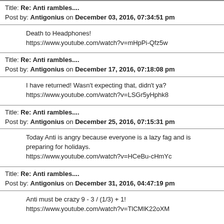Title: Re: Anti rambles....
Post by: Antigonius on December 03, 2016, 07:34:51 pm
Death to Headphones!
https://www.youtube.com/watch?v=mHpPi-Qfz5w
Title: Re: Anti rambles....
Post by: Antigonius on December 17, 2016, 07:18:08 pm
I have returned! Wasn't expecting that, didn't ya?
https://www.youtube.com/watch?v=LSGr5yHphk8
Title: Re: Anti rambles....
Post by: Antigonius on December 25, 2016, 07:15:31 pm
Today Anti is angry because everyone is a lazy fag and is preparing for holidays.
https://www.youtube.com/watch?v=HCeBu-cHmYc
Title: Re: Anti rambles....
Post by: Antigonius on December 31, 2016, 04:47:19 pm
Anti must be crazy 9 - 3 / (1/3) + 1!
https://www.youtube.com/watch?v=TlCMlK22oXM